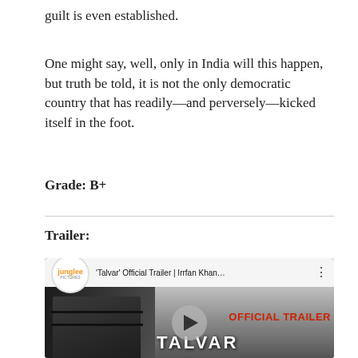guilt is even established.
One might say, well, only in India will this happen, but truth be told, it is not the only democratic country that has readily—and perversely—kicked itself in the foot.
Grade: B+
Trailer:
[Figure (screenshot): YouTube video thumbnail for 'Talvar' Official Trailer featuring Irrfan Khan, with Junglee Pictures logo, play button, and movie title text.]